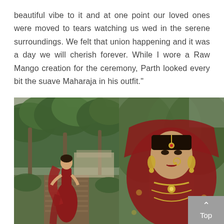beautiful vibe to it and at one point our loved ones were moved to tears watching us wed in the serene surroundings. We felt that union happening and it was a day we will cherish forever. While I wore a Raw Mango creation for the ceremony, Parth looked every bit the suave Maharaja in his outfit."
[Figure (photo): Two wedding photos side by side. Left: A bride in a red lehenga standing on a wooden walkway surrounded by palm trees and tropical greenery. Right: Close-up portrait of the bride wearing traditional Indian bridal jewelry including a maang tikka, large jhumka earrings, and nose ring, with a red dupatta draped over her head.]